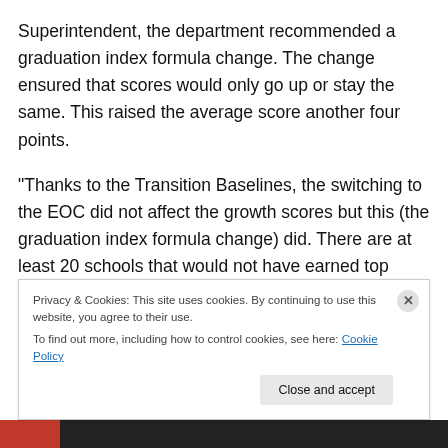Superintendent, the department recommended a graduation index formula change. The change ensured that scores would only go up or stay the same. This raised the average score another four points.

“Thanks to the Transition Baselines, the switching to the EOC did not affect the growth scores but this (the graduation index formula change) did. There are at least 20 schools that would not have earned top gains status without it. That’s over $160,000 in those big checks passed out in PR campaigns,” he said in reference to
Privacy & Cookies: This site uses cookies. By continuing to use this website, you agree to their use.
To find out more, including how to control cookies, see here: Cookie Policy